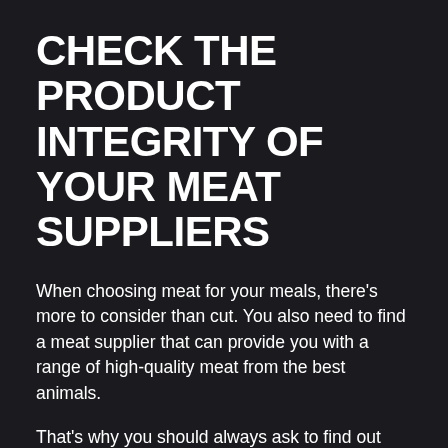CHECK THE PRODUCT INTEGRITY OF YOUR MEAT SUPPLIERS
When choosing meat for your meals, there's more to consider than cut. You also need to find a meat supplier that can provide you with a range of high-quality meat from the best animals.
That's why you should always ask to find out more about the provenance of the meat from any butchers before you order for your hospitality business.
At IMS of Smithfield, we pride ourselves on offering a wide range of top-quality meat to all of our valued clients. We have our accreditations…